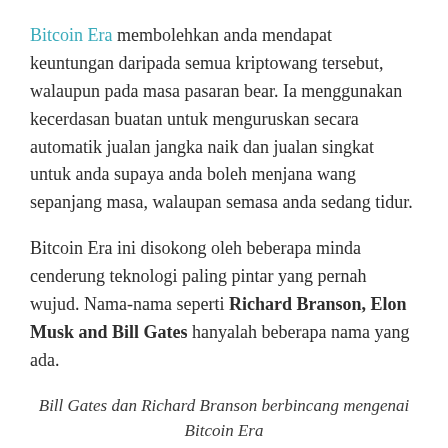Bitcoin Era membolehkan anda mendapat keuntungan daripada semua kriptowang tersebut, walaupun pada masa pasaran bear. Ia menggunakan kecerdasan buatan untuk menguruskan secara automatik jualan jangka naik dan jualan singkat untuk anda supaya anda boleh menjana wang sepanjang masa, walaupan semasa anda sedang tidur.
Bitcoin Era ini disokong oleh beberapa minda cenderung teknologi paling pintar yang pernah wujud. Nama-nama seperti Richard Branson, Elon Musk and Bill Gates hanyalah beberapa nama yang ada.
Bill Gates dan Richard Branson berbincang mengenai Bitcoin Era di CES 2021.
Pakar-pakar bidang teknologi ini telah membina syarikat